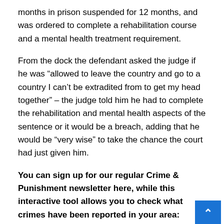months in prison suspended for 12 months, and was ordered to complete a rehabilitation course and a mental health treatment requirement.
From the dock the defendant asked the judge if he was “allowed to leave the country and go to a country I can’t be extradited from to get my head together” – the judge told him he had to complete the rehabilitation and mental health aspects of the sentence or it would be a breach, adding that he would be “very wise” to take the chance the court had just given him.
You can sign up for our regular Crime & Punishment newsletter here, while this interactive tool allows you to check what crimes have been reported in your area:
Read More
Related Articles